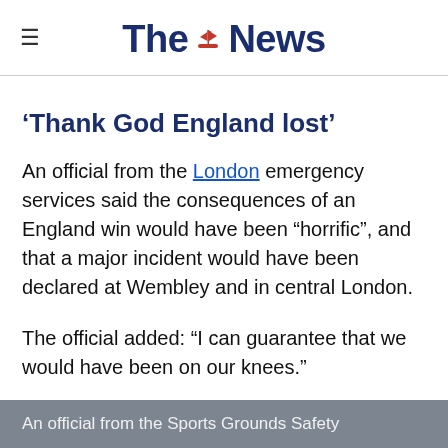The News
‘Thank God England lost’
An official from the London emergency services said the consequences of an England win would have been “horrifíc”, and that a major incident would have been declared at Wembley and in central London.
The official added: “I can guarantee that we would have been on our knees.”
An official from the Sports Grounds Safety